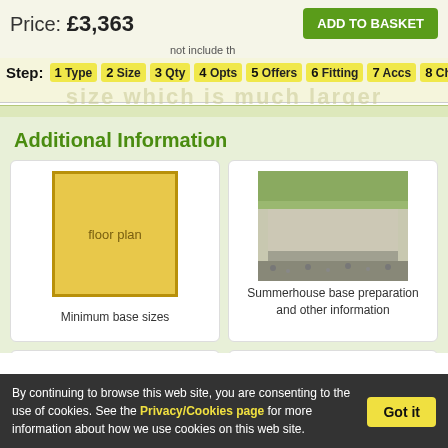Price: £3,363   ADD TO BASKET
not include the
Step: 1 Type  2 Size  3 Qty  4 Opts  5 Offers  6 Fitting  7 Accs  8 Choices
Additional Information
[Figure (illustration): Floor plan diagram - yellow square box with text 'floor plan']
Minimum base sizes
[Figure (photo): Summerhouse base - concrete slab with gravel]
Summerhouse base preparation and other information
[Figure (photo): Close up of door handle/hardware on wooden door]
[Figure (photo): Close up view of cladding - horizontal wooden planks]
Close up view of cladding
By continuing to browse this web site, you are consenting to the use of cookies. See the Privacy/Cookies page for more information about how we use cookies on this web site.